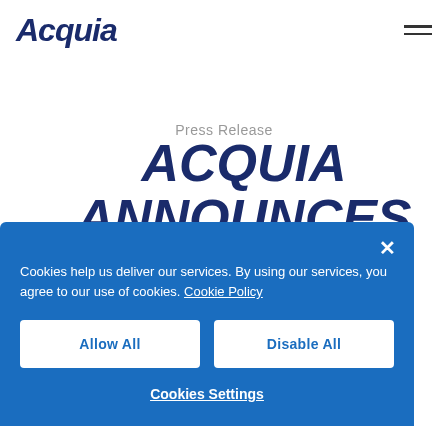Acquia [logo] [hamburger menu]
Press Release
ACQUIA ANNOUNCES
Cookies help us deliver our services. By using our services, you agree to our use of cookies. Cookie Policy
Allow All
Disable All
Cookies Settings